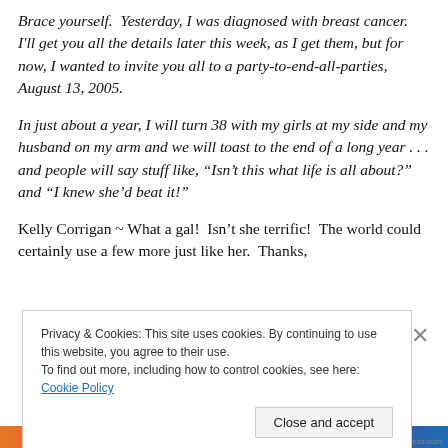Brace yourself.  Yesterday, I was diagnosed with breast cancer.  I'll get you all the details later this week, as I get them, but for now, I wanted to invite you all to a party-to-end-all-parties, August 13, 2005.
In just about a year, I will turn 38 with my girls at my side and my husband on my arm and we will toast to the end of a long year . . . and people will say stuff like, “Isn’t this what life is all about?” and “I knew she’d beat it!”
Kelly Corrigan ~ What a gal!  Isn’t she terrific!  The world could certainly use a few more just like her.  Thanks,
Privacy & Cookies: This site uses cookies. By continuing to use this website, you agree to their use.
To find out more, including how to control cookies, see here: Cookie Policy